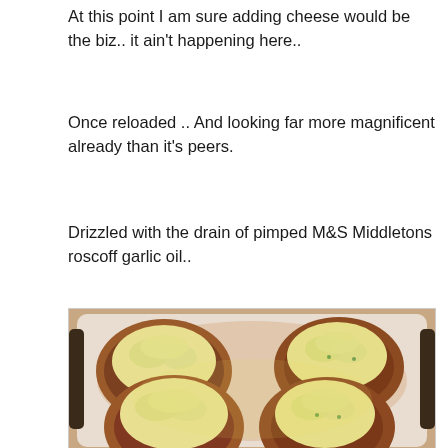At this point I am sure adding cheese would be the biz.. it ain't happening here..
Once reloaded .. And looking far more magnificent already than it's peers.
Drizzled with the drain of pimped M&S Middletons roscoff garlic oil..
[Figure (photo): Four twice-baked potatoes stuffed with mashed potato filling, arranged in a cream/white ceramic baking dish. The potatoes have golden-yellow mashed filling piled on top with some green herb flecks visible, and crispy brown skins.]